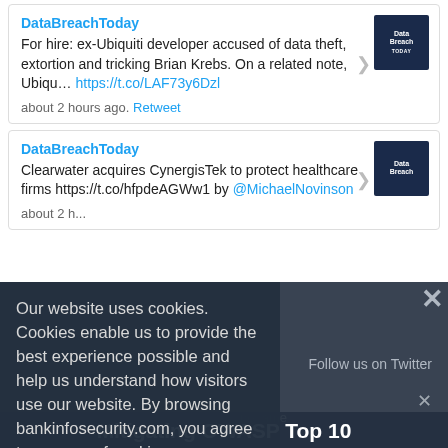DataBreachToday
For hire: ex-Ubiquiti developer accused of data theft, extortion and tricking Brian Krebs. On a related note, Ubiqu... https://t.co/LAF73y6Dzl
about 2 hours ago. Retweet
DataBreachToday
Clearwater acquires CynergisTek to protect healthcare firms https://t.co/hfpdeAGWw1 by @MichaelNovinson
about 2 h...
Our website uses cookies. Cookies enable us to provide the best experience possible and help us understand how visitors use our website. By browsing bankinfosecurity.com, you agree to our use of cookies.
Follow us on Twitter
noname
Mitigating OWASP Top 10